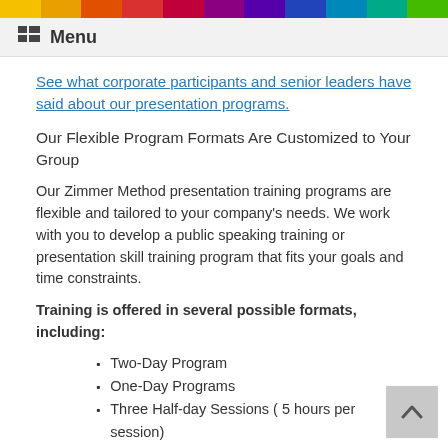Menu
See what corporate participants and senior leaders have said about our presentation programs.
Our Flexible Program Formats Are Customized to Your Group
Our Zimmer Method presentation training programs are flexible and tailored to your company's needs. We work with you to develop a public speaking training or presentation skill training program that fits your goals and time constraints.
Training is offered in several possible formats, including:
Two-Day Program
One-Day Programs
Three Half-day Sessions ( 5 hours per session)
Weekly Courses – meeting for two to three hours per week over several weeks